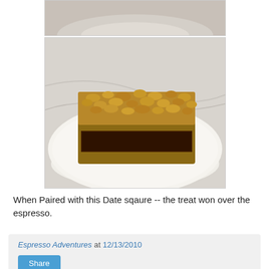[Figure (photo): Partial top view of a white plate with food, cropped at the top of the page]
[Figure (photo): A date square with oat crumble topping on a white plate, sitting on a marble surface]
When Paired with this Date sqaure -- the treat won over the espresso.
Espresso Adventures at 12/13/2010
Share
3 comments: